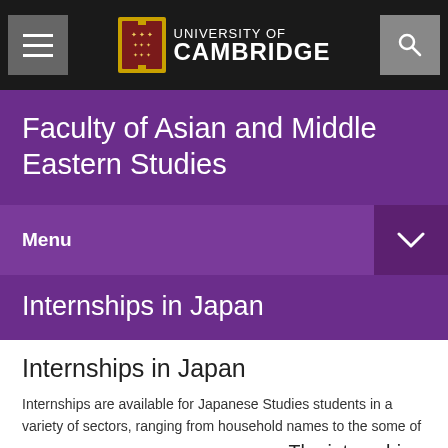[Figure (logo): University of Cambridge logo with crest, hamburger menu button on left, search button on right, on black navbar]
Faculty of Asian and Middle Eastern Studies
Menu
Internships in Japan
Internships in Japan
Internships are available for Japanese Studies students in a variety of sectors, ranging from household names to the some of Japan's most exciting start-up businesses. The internship opportunities listed below are all part of the Japan and the World